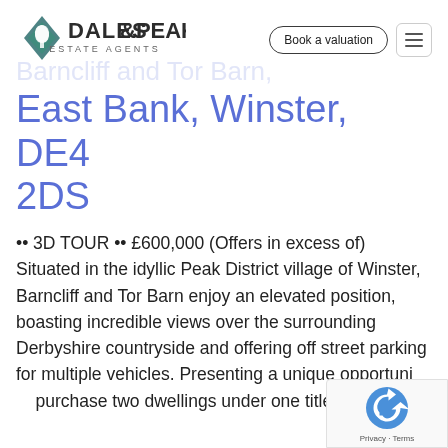[Figure (logo): Dales & Peaks Estate Agents logo with diamond-shaped icon containing leaf/tree motif]
Barncliff and Tor Barn, East Bank, Winster, DE4 2DS
•• 3D TOUR •• £600,000 (Offers in excess of) Situated in the idyllic Peak District village of Winster, Barncliff and Tor Barn enjoy an elevated position, boasting incredible views over the surrounding Derbyshire countryside and offering off street parking for multiple vehicles. Presenting a unique opportunity to purchase two dwellings under one title, with